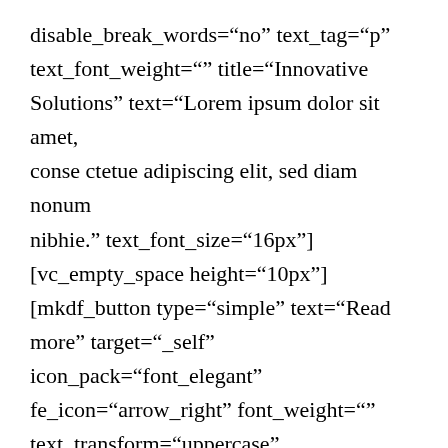disable_break_words="no" text_tag="p" text_font_weight="" title="Innovative Solutions" text="Lorem ipsum dolor sit amet, conse ctetue adipiscing elit, sed diam nonum nibhie." text_font_size="16px"] [vc_empty_space height="10px"] [mkdf_button type="simple" text="Read more" target="_self" icon_pack="font_elegant" fe_icon="arrow_right" font_weight="" text_transform="uppercase" link="https://fascinationtheme.com/link